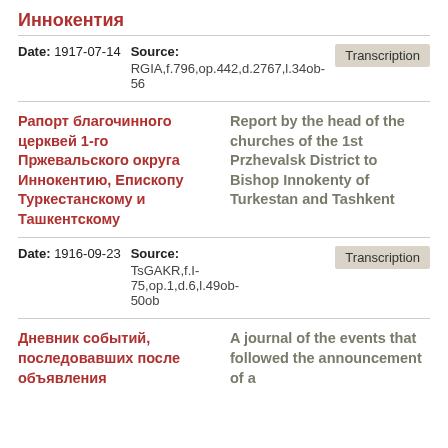Иннокентия
Date: 1917-07-14  Source: RGIA,f.796,op.442,d.2767,l.34ob-56
Transcription
Рапорт благочинного церквей 1-го Пржевальского округа Иннокентию, Епископу Туркестанскому и Ташкентскому
Report by the head of the churches of the 1st Przhevalsk District to Bishop Innokenty of Turkestan and Tashkent
Date: 1916-09-23  Source: TsGAKR,f.I-75,op.1,d.6,l.49ob-50ob
Transcription
Дневник событий, последовавших после объявления
A journal of the events that followed the announcement of a